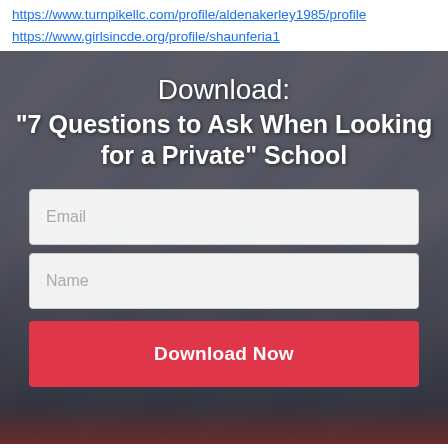https://www.turnpikellc.com/profile/aldenakerley1985/profile
https://www.girlsincde.org/profile/shaunferia1
[Figure (photo): Group photo of a large number of students and adults, likely a school community photo taken from above, with a red floor/bleacher area visible at the bottom. A form overlay is placed on top of the lower portion of the image with fields for Email, Name, and a Download Now button.]
Download:
"7 Questions to Ask When Looking for a Private" School